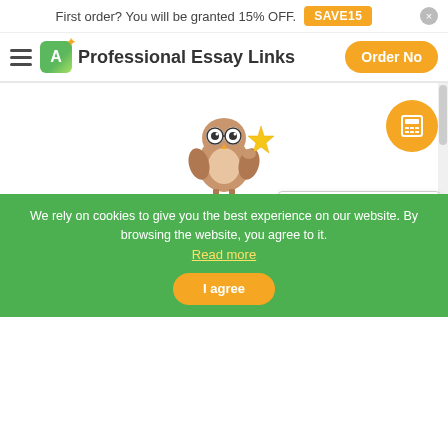First order? You will be granted 15% OFF. SAVE15
Professional Essay Links  Order No
[Figure (illustration): Cartoon owl mascot wearing glasses and holding a gold star]
Please consider the following patient prese.....
Please consider the following patient presentation: Mrs. Johnson is a 73 y.o. female presents to your office with right shoulde...
Order a paper. Study better. Sleep tight. Calculate Price!
We rely on cookies to give you the best experience on our website. By browsing the website, you agree to it. Read more
I agree